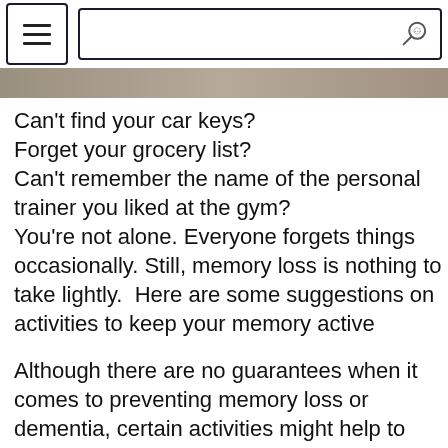[Menu button and search bar navigation header]
[Figure (screenshot): Partial image strip showing a gym or fitness-related background image]
Can't find your car keys? Forget your grocery list? Can't remember the name of the personal trainer you liked at the gym? You're not alone. Everyone forgets things occasionally. Still, memory loss is nothing to take lightly.  Here are some suggestions on activities to keep your memory active
Although there are no guarantees when it comes to preventing memory loss or dementia, certain activities might help to sharpen your memory